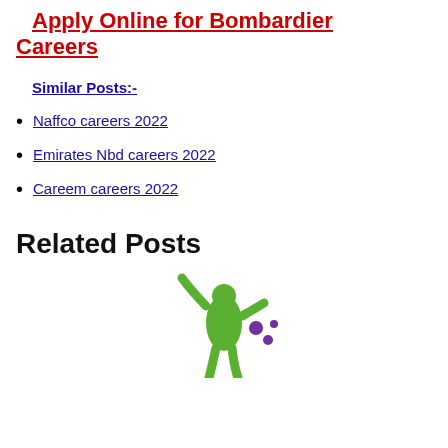Apply Online for Bombardier Careers
Similar Posts:-
Naffco careers 2022
Emirates Nbd careers 2022
Careem careers 2022
Related Posts
[Figure (logo): A logo graphic visible at the bottom of the page, partially shown, appears to be a green and purple stylized figure/person logo]